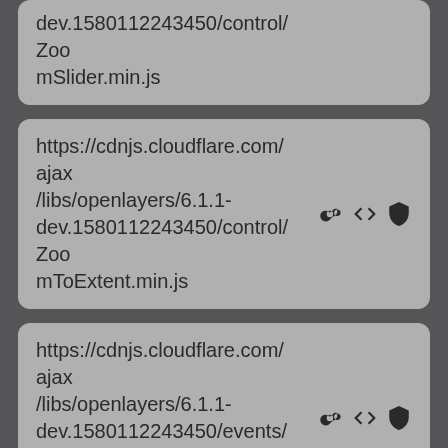dev.1580112243450/control/ZoomSlider.min.js
https://cdnjs.cloudflare.com/ajax/libs/openlayers/6.1.1-dev.1580112243450/control/ZoomToExtent.min.js
https://cdnjs.cloudflare.com/ajax/libs/openlayers/6.1.1-dev.1580112243450/events/Event.min.js
https://cdnjs.cloudflare.com/ajax/libs/openlayers/6.1.1-dev.1580112243450/events/EventType.min.js